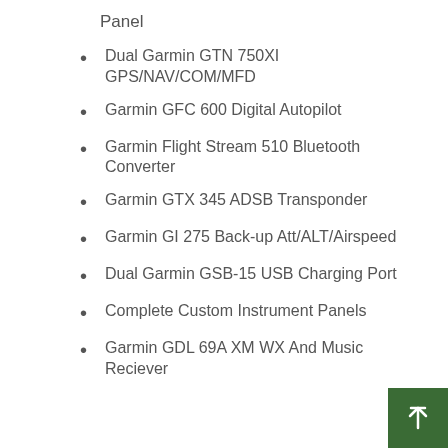Panel
Dual Garmin GTN 750XI GPS/NAV/COM/MFD
Garmin GFC 600 Digital Autopilot
Garmin Flight Stream 510 Bluetooth Converter
Garmin GTX 345 ADSB Transponder
Garmin GI 275 Back-up Att/ALT/Airspeed
Dual Garmin GSB-15 USB Charging Port
Complete Custom Instrument Panels
Garmin GDL 69A XM WX And Music Reciever